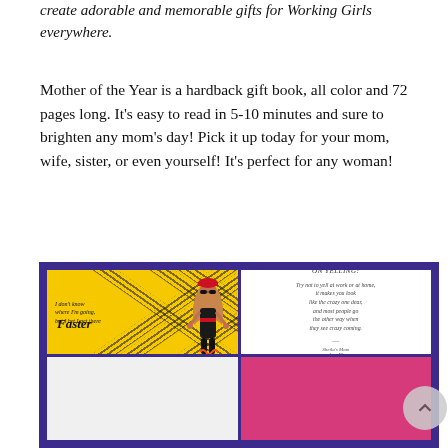create adorable and memorable gifts for Working Girls everywhere.
Mother of the Year is a hardback gift book, all color and 72 pages long. It's easy to read in 5-10 minutes and sure to brighten any mom's day! Pick it up today for your mom, wife, sister, or even yourself! It's perfect for any woman!
[Figure (photo): Book preview image showing two illustrated panels: top-left panel has yellow background with tire track designs and a stylized woman figure in black outfit with red cap, with italic text 'I don't know where I'm going, but I bet I get there Faster'; top-right panel is white with text 'ON YELLING: Try not to yell at work or at home, it makes you look like the crazy one dear, and most people go the other way when they see crazy coming. — Sheila's Mom Age 49'. Bottom row shows two partially visible panels.]